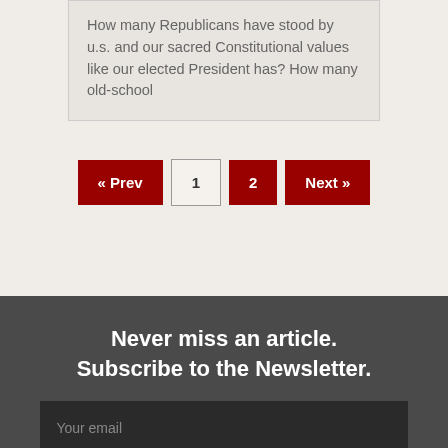How many Republicans have stood by u.s. and our sacred Constitutional values like our elected President has? How many old-school
« Prev  1  2  Next »
Never miss an article. Subscribe to the Newsletter.
Your email